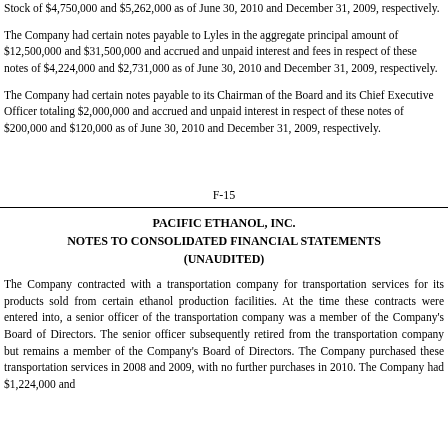Stock of $4,750,000 and $5,262,000 as of June 30, 2010 and December 31, 2009, respectively.
The Company had certain notes payable to Lyles in the aggregate principal amount of $12,500,000 and $31,500,000 and accrued and unpaid interest and fees in respect of these notes of $4,224,000 and $2,731,000 as of June 30, 2010 and December 31, 2009, respectively.
The Company had certain notes payable to its Chairman of the Board and its Chief Executive Officer totaling $2,000,000 and accrued and unpaid interest in respect of these notes of $200,000 and $120,000 as of June 30, 2010 and December 31, 2009, respectively.
F-15
PACIFIC ETHANOL, INC.
NOTES TO CONSOLIDATED FINANCIAL STATEMENTS
(UNAUDITED)
The Company contracted with a transportation company for transportation services for its products sold from certain ethanol production facilities. At the time these contracts were entered into, a senior officer of the transportation company was a member of the Company's Board of Directors. The senior officer subsequently retired from the transportation company but remains a member of the Company's Board of Directors. The Company purchased these transportation services in 2008 and 2009, with no further purchases in 2010. The Company had $1,224,000 and...